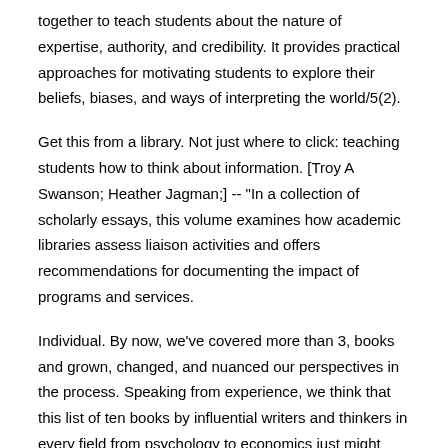together to teach students about the nature of expertise, authority, and credibility. It provides practical approaches for motivating students to explore their beliefs, biases, and ways of interpreting the world/5(2).
Get this from a library. Not just where to click: teaching students how to think about information. [Troy A Swanson; Heather Jagman;] -- "In a collection of scholarly essays, this volume examines how academic libraries assess liaison activities and offers recommendations for documenting the impact of programs and services.
Individual. By now, we've covered more than 3, books and grown, changed, and nuanced our perspectives in the process. Speaking from experience, we think that this list of ten books by influential writers and thinkers in every field from psychology to economics just might change how you think about the world, work, other people, and yourself.
Questions Before, During, and After Reading | Student. In this clever, witty book, Jacobs diagnoses the many forces that prevent thought - forces that have only worsened in the age of Twitter, such as